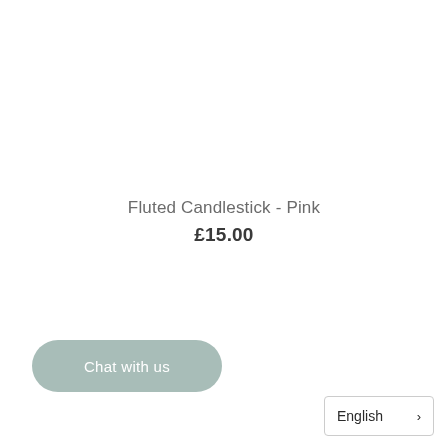Fluted Candlestick - Pink
£15.00
Chat with us
English ›